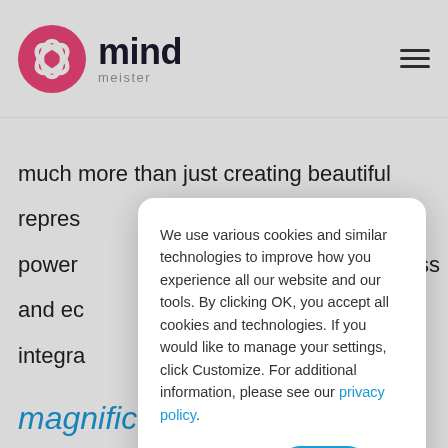[Figure (logo): MindMeister logo: pink circular icon with interlocking rings, followed by the text 'mind' in dark bold and 'meister' in grey below]
[Figure (other): Hamburger menu icon (three horizontal lines) in top right corner]
much more than just creating beautiful
repres
power
ss
and ec
integra
We use various cookies and similar technologies to improve how you experience all our website and our tools. By clicking OK, you accept all cookies and technologies. If you would like to manage your settings, click Customize. For additional information, please see our privacy policy.
Customize
OK
“C
ev
M
u
magnificent design and